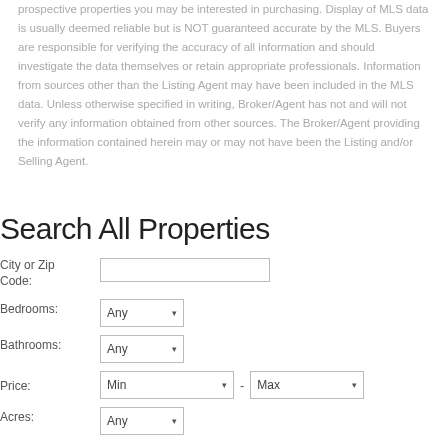prospective properties you may be interested in purchasing. Display of MLS data is usually deemed reliable but is NOT guaranteed accurate by the MLS. Buyers are responsible for verifying the accuracy of all information and should investigate the data themselves or retain appropriate professionals. Information from sources other than the Listing Agent may have been included in the MLS data. Unless otherwise specified in writing, Broker/Agent has not and will not verify any information obtained from other sources. The Broker/Agent providing the information contained herein may or may not have been the Listing and/or Selling Agent.
Search All Properties
City or Zip Code:
Bedrooms:
Bathrooms:
Price:
Acres: